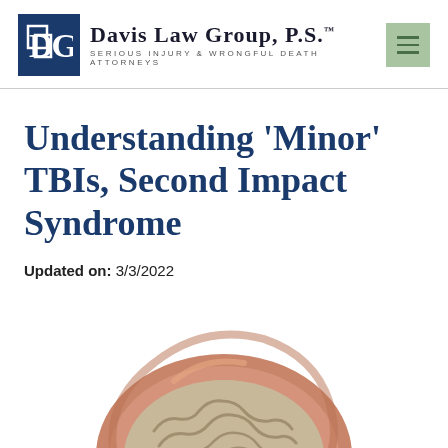Davis Law Group, P.S. — Serious Injury & Wrongful Death Attorneys
Understanding ‘Minor’ TBIs, Second Impact Syndrome
Updated on: 3/3/2022
[Figure (illustration): Cross-section illustration of a human brain showing internal anatomy, viewed from the top/side, with pinkish-brown outer layers and cream-colored brain tissue inside.]